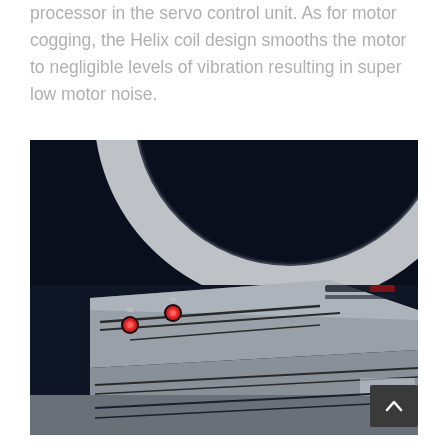processor in the servo control unit. As for motor cogging, the Helix coil design smooths the motor to negligible levels of vibration resulting in super low motor noise.
[Figure (photo): Close-up photograph of a high-end turntable showing the platter edge (white/silver circular rim at top), the dark chassis body, a silver control panel strip with two speed selector buttons labeled '33' and '45' with red LED indicators, and decorative grooved lines. A dark background with a small back-to-top button (chevron up icon) visible in the bottom right corner.]